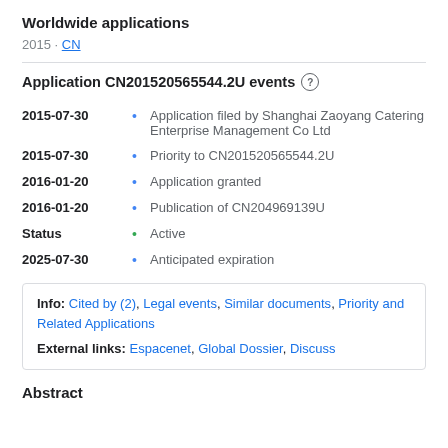Worldwide applications
2015 · CN
Application CN201520565544.2U events
2015-07-30 • Application filed by Shanghai Zaoyang Catering Enterprise Management Co Ltd
2015-07-30 • Priority to CN201520565544.2U
2016-01-20 • Application granted
2016-01-20 • Publication of CN204969139U
Status • Active
2025-07-30 • Anticipated expiration
Info: Cited by (2), Legal events, Similar documents, Priority and Related Applications
External links: Espacenet, Global Dossier, Discuss
Abstract